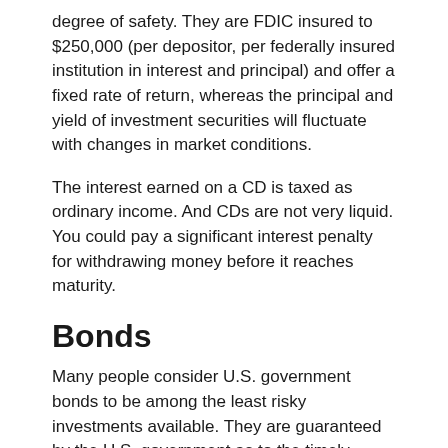degree of safety. They are FDIC insured to $250,000 (per depositor, per federally insured institution in interest and principal) and offer a fixed rate of return, whereas the principal and yield of investment securities will fluctuate with changes in market conditions.
The interest earned on a CD is taxed as ordinary income. And CDs are not very liquid. You could pay a significant interest penalty for withdrawing money before it reaches maturity.
Bonds
Many people consider U.S. government bonds to be among the least risky investments available. They are guaranteed by the U.S. government as to the timely payment of principal and interest.